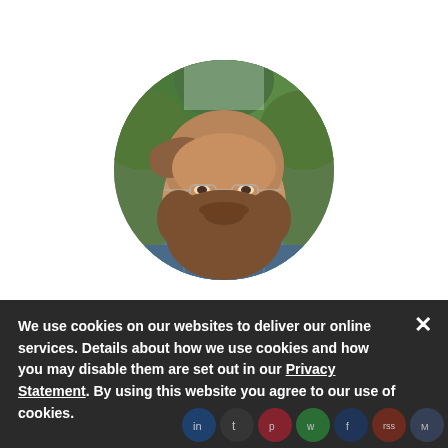[Figure (photo): Circular profile photo of a bearded man with glasses wearing a blue plaid shirt, with green foliage background]
Don Marti
[Figure (photo): Partially visible circular profile photo of a second person with light hair, cropped at the bottom of the page]
We use cookies on our websites to deliver our online services. Details about how we use cookies and how you may disable them are set out in our Privacy Statement. By using this website you agree to our use of cookies.